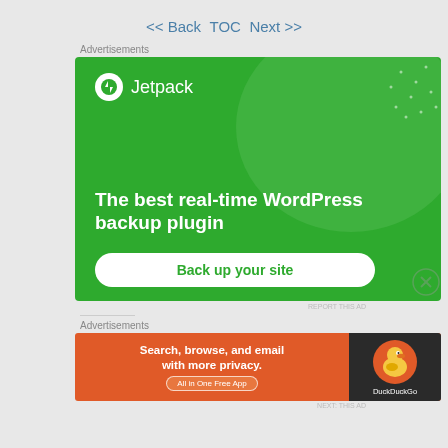<< Back  TOC  Next >>
Advertisements
[Figure (illustration): Jetpack advertisement banner: green background with circular shape, Jetpack logo, text 'The best real-time WordPress backup plugin', and 'Back up your site' button]
REPORT THIS AD
Advertisements
[Figure (illustration): DuckDuckGo advertisement: orange background with text 'Search, browse, and email with more privacy. All in One Free App' and DuckDuckGo duck logo on dark right panel]